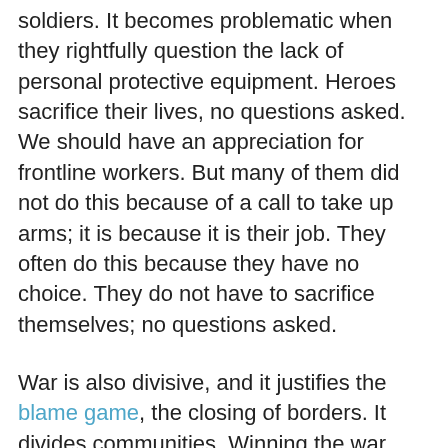soldiers. It becomes problematic when they rightfully question the lack of personal protective equipment. Heroes sacrifice their lives, no questions asked. We should have an appreciation for frontline workers. But many of them did not do this because of a call to take up arms; it is because it is their job. They often do this because they have no choice. They do not have to sacrifice themselves; no questions asked.
War is also divisive, and it justifies the blame game, the closing of borders. It divides communities. Winning the war becomes necessary for the post-war reconstruction of the geopolitical environment. It becomes a political game. The war metaphor does not help build safe and peaceful communities that respect the human rights of others and treat